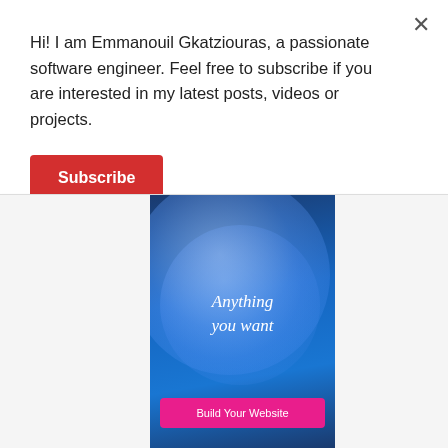Hi! I am Emmanouil Gkatziouras, a passionate software engineer. Feel free to subscribe if you are interested in my latest posts, videos or projects.
Subscribe
[Figure (illustration): Advertisement banner with blue gradient background showing a large translucent circle shape and text 'Anything you want' with a pink 'Build Your Website' button at the bottom.]